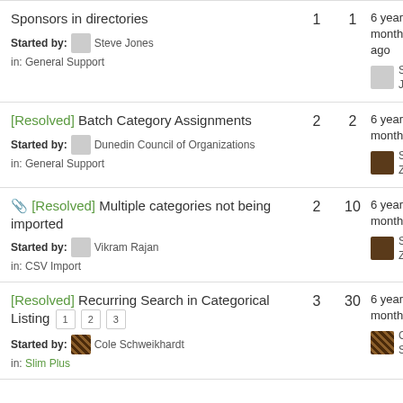Sponsors in directories — Started by: Steve Jones — in: General Support — 1 reply — 1 view — 6 years, 8 months ago — Steve Jones
[Resolved] Batch Category Assignments — Started by: Dunedin Council of Organizations — in: General Support — 2 replies — 2 views — 6 years, 9 months ago — Steven Zahn
[Resolved] Multiple categories not being imported — Started by: Vikram Rajan — in: CSV Import — 2 replies — 10 views — 6 years, 11 months ago — Steven Zahn
[Resolved] Recurring Search in Categorical Listing — pages 1 2 3 — Started by: Cole Schweikhardt — in: Slim Plus — 3 replies — 30 views — 6 years, 11 months ago — Cole Schweikhardt